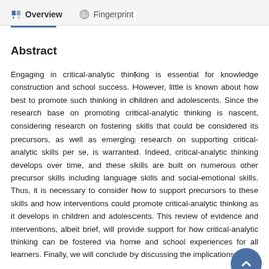Overview   Fingerprint
Abstract
Engaging in critical-analytic thinking is essential for knowledge construction and school success. However, little is known about how best to promote such thinking in children and adolescents. Since the research base on promoting critical-analytic thinking is nascent, considering research on fostering skills that could be considered its precursors, as well as emerging research on supporting critical-analytic skills per se, is warranted. Indeed, critical-analytic thinking develops over time, and these skills are built on numerous other precursor skills including language skills and social-emotional skills. Thus, it is necessary to consider how to support precursors to these skills and how interventions could promote critical-analytic thinking as it develops in children and adolescents. This review of evidence and interventions, albeit brief, will provide support for how critical-analytic thinking can be fostered via home and school experiences for all learners. Finally, we will conclude by discussing the implications of the